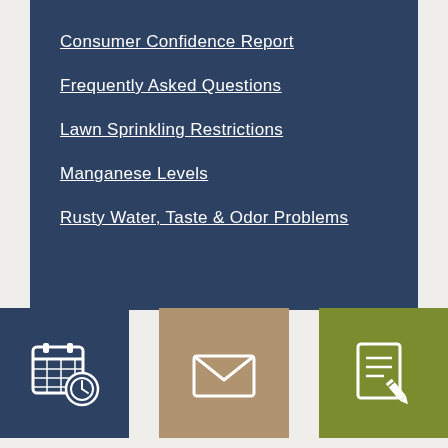Consumer Confidence Report
Frequently Asked Questions
Lawn Sprinkling Restrictions
Manganese Levels
Rusty Water, Taste & Odor Problems
[Figure (infographic): Three icon boxes: calendar/clock icon on dark blue background, envelope/mail icon on tan background, document/edit icon on olive background]
[Figure (infographic): Envelope/mail icon on tan background]
[Figure (infographic): Document/edit icon on olive green background]